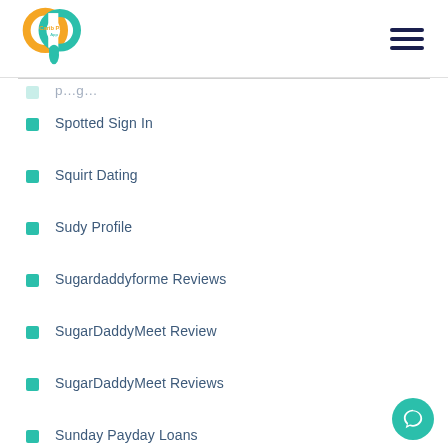Carib Pay App
Spotted Sign In
Squirt Dating
Sudy Profile
Sugardaddyforme Reviews
SugarDaddyMeet Review
SugarDaddyMeet Reviews
Sunday Payday Loans
Supersinglesdating.Com Dating-Free-Online
Supersinglesdating.Com Dating-Online-For-Free
Swapfinder Reviews